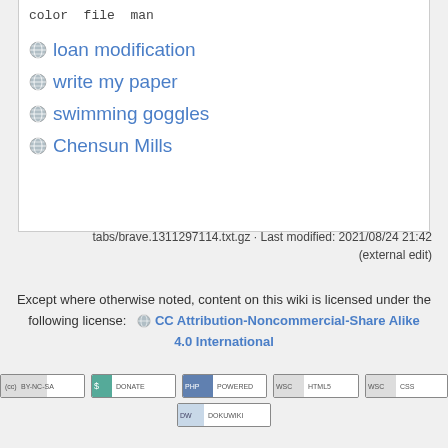color file man
loan modification
write my paper
swimming goggles
Chensun Mills
tabs/brave.1311297114.txt.gz · Last modified: 2021/08/24 21:42 (external edit)
Except where otherwise noted, content on this wiki is licensed under the following license: CC Attribution-Noncommercial-Share Alike 4.0 International
[Figure (other): Badge icons: CC BY-NC-SA, Donate, PHP Powered, WSC HTML5, WSC CSS, DokuWiki]